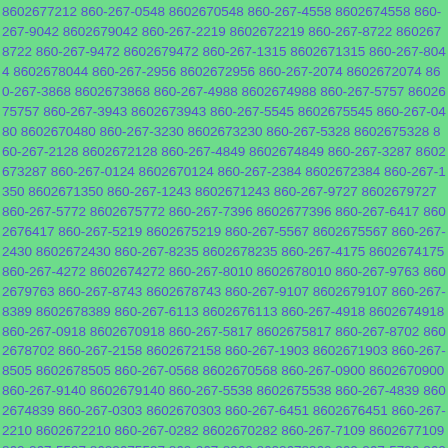8602677212 860-267-0548 8602670548 860-267-4558 8602674558 860-267-9042 8602679042 860-267-2219 8602672219 860-267-8722 8602678722 860-267-9472 8602679472 860-267-1315 8602671315 860-267-8044 8602678044 860-267-2956 8602672956 860-267-2074 8602672074 860-267-3868 8602673868 860-267-4988 8602674988 860-267-5757 8602675757 860-267-3943 8602673943 860-267-5545 8602675545 860-267-0480 8602670480 860-267-3230 8602673230 860-267-5328 8602675328 860-267-2128 8602672128 860-267-4849 8602674849 860-267-3287 8602673287 860-267-0124 8602670124 860-267-2384 8602672384 860-267-1350 8602671350 860-267-1243 8602671243 860-267-9727 8602679727 860-267-5772 8602675772 860-267-7396 8602677396 860-267-6417 8602676417 860-267-5219 8602675219 860-267-5567 8602675567 860-267-2430 8602672430 860-267-8235 8602678235 860-267-4175 8602674175 860-267-4272 8602674272 860-267-8010 8602678010 860-267-9763 8602679763 860-267-8743 8602678743 860-267-9107 8602679107 860-267-8389 8602678389 860-267-6113 8602676113 860-267-4918 8602674918 860-267-0918 8602670918 860-267-5817 8602675817 860-267-8702 8602678702 860-267-2158 8602672158 860-267-1903 8602671903 860-267-8505 8602678505 860-267-0568 8602670568 860-267-0900 8602670900 860-267-9140 8602679140 860-267-5538 8602675538 860-267-4839 8602674839 860-267-0303 8602670303 860-267-6451 8602676451 860-267-2210 8602672210 860-267-0282 8602670282 860-267-7109 8602677109 860-267-5597 8602675597 860-267-8960 8602678960 860-267-5796 8602675796 860-267-6542 8602676542 860-267-7268 8602677268 860-267-0659 8602670659 860-